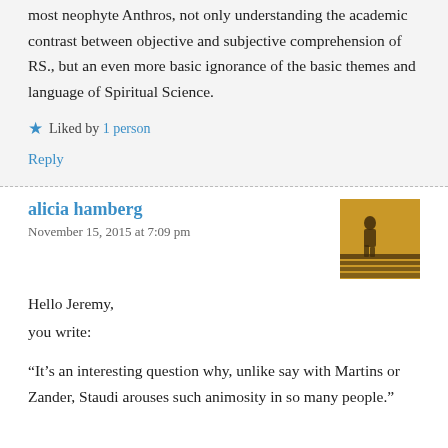most neophyte Anthros, not only understanding the academic contrast between objective and subjective comprehension of RS., but an even more basic ignorance of the basic themes and language of Spiritual Science.
★ Liked by 1 person
Reply
alicia hamberg
November 15, 2015 at 7:09 pm
[Figure (photo): Small square avatar image showing a silhouette of a person on stairs with warm yellow/orange lighting]
Hello Jeremy,
you write:
“It’s an interesting question why, unlike say with Martins or Zander, Staudi arouses such animosity in so many people.”